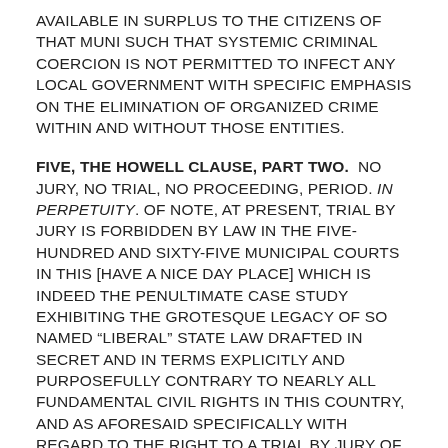AVAILABLE IN SURPLUS TO THE CITIZENS OF THAT MUNI SUCH THAT SYSTEMIC CRIMINAL COERCION IS NOT PERMITTED TO INFECT ANY LOCAL GOVERNMENT WITH SPECIFIC EMPHASIS ON THE ELIMINATION OF ORGANIZED CRIME WITHIN AND WITHOUT THOSE ENTITIES.
FIVE, THE HOWELL CLAUSE, PART TWO.  NO JURY, NO TRIAL, NO PROCEEDING, PERIOD. IN PERPETUITY. OF NOTE, AT PRESENT, TRIAL BY JURY IS FORBIDDEN BY LAW IN THE FIVE-HUNDRED AND SIXTY-FIVE MUNICIPAL COURTS IN THIS [HAVE A NICE DAY PLACE] WHICH IS INDEED THE PENULTIMATE CASE STUDY EXHIBITING THE GROTESQUE LEGACY OF SO NAMED “LIBERAL” STATE LAW DRAFTED IN SECRET AND IN TERMS EXPLICITLY AND PURPOSEFULLY CONTRARY TO NEARLY ALL FUNDAMENTAL CIVIL RIGHTS IN THIS COUNTRY, AND AS AFORESAID SPECIFICALLY WITH REGARD TO THE RIGHT TO A TRIAL BY JURY OF PEERS THAT WAS INDEED SET